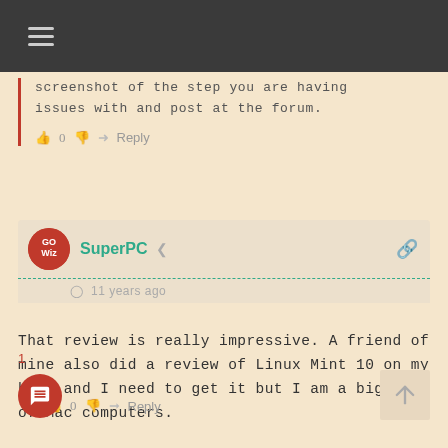[Figure (screenshot): Dark navigation bar with hamburger menu icon]
screenshot of the step you are having issues with and post at the forum.
👍 0 👎 ➜ Reply
[Figure (screenshot): Comment card with SuperPC avatar and username, share icon, dashed teal separator, clock icon, 11 years ago timestamp]
That review is really impressive. A friend of mine also did a review of Linux Mint 10 on my blog and I need to get it but I am a big fan of Mac computers.
👍 0 👎 ➜ Reply